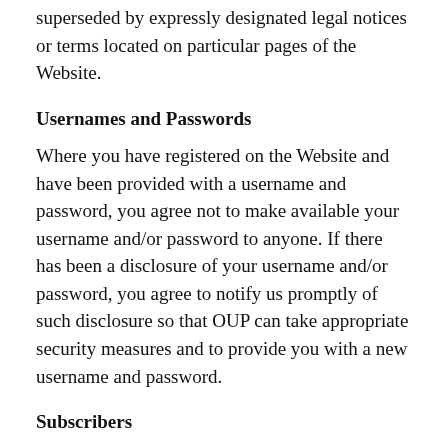superseded by expressly designated legal notices or terms located on particular pages of the Website.
Usernames and Passwords
Where you have registered on the Website and have been provided with a username and password, you agree not to make available your username and/or password to anyone. If there has been a disclosure of your username and/or password, you agree to notify us promptly of such disclosure so that OUP can take appropriate security measures and to provide you with a new username and password.
Subscribers
Under the licence to access restricted content on the Website accepted by a subscriber (which may be you as an individual or an institution to which you are affiliated) you are permitted to: